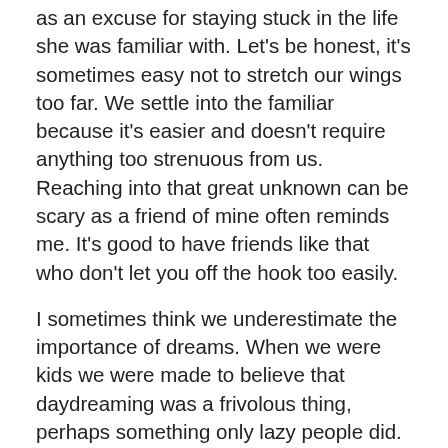as an excuse for staying stuck in the life she was familiar with. Let's be honest, it's sometimes easy not to stretch our wings too far. We settle into the familiar because it's easier and doesn't require anything too strenuous from us. Reaching into that great unknown can be scary as a friend of mine often reminds me. It's good to have friends like that who don't let you off the hook too easily.
I sometimes think we underestimate the importance of dreams. When we were kids we were made to believe that daydreaming was a frivolous thing, perhaps something only lazy people did. And I think what a shame that is to instill that kind of thinking into a child. Luckily, things are different today and I think people have started to realize that there's nothing wrong in having a dream or dreams and certainly nothing holding us back from realizing those dreams except maybe ourselves.